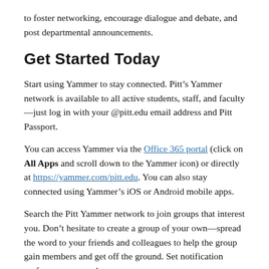to foster networking, encourage dialogue and debate, and post departmental announcements.
Get Started Today
Start using Yammer to stay connected. Pitt’s Yammer network is available to all active students, staff, and faculty—just log in with your @pitt.edu email address and Pitt Passport.
You can access Yammer via the Office 365 portal (click on All Apps and scroll down to the Yammer icon) or directly at https://yammer.com/pitt.edu. You can also stay connected using Yammer’s iOS or Android mobile apps.
Search the Pitt Yammer network to join groups that interest you. Don’t hesitate to create a group of your own—spread the word to your friends and colleagues to help the group gain members and get off the ground. Set notification preferences so you know